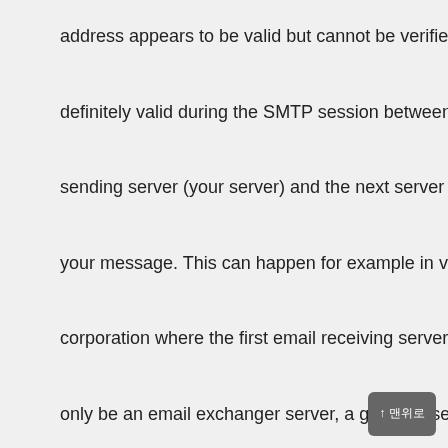address appears to be valid but cannot be verified as definitely valid during the SMTP session between the sending server (your server) and the next server to accept your message. This can happen for example in very large corporation where the first email receiving server might only be an email exchanger server, a gateway server to the eventual server which holds the user mailboxes and which can verify if the intended recipient exists in that organization. When this happens the gateway server will reply with an SMTP Error 252 telling your sending server